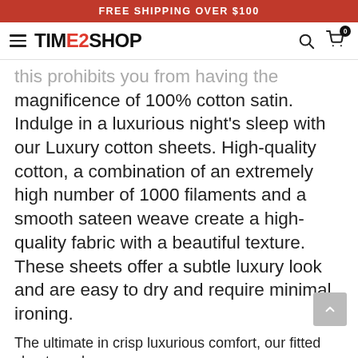FREE SHIPPING OVER $100
[Figure (logo): Time2Shop logo with hamburger menu, search icon, and cart icon with badge 0]
this prohibits you from having the magnificence of 100% cotton satin. Indulge in a luxurious night's sleep with our Luxury cotton sheets. High-quality cotton, a combination of an extremely high number of 1000 filaments and a smooth sateen weave create a high-quality fabric with a beautiful texture. These sheets offer a subtle luxury look and are easy to dry and require minimal ironing.
The ultimate in crisp luxurious comfort, our fitted sheets and